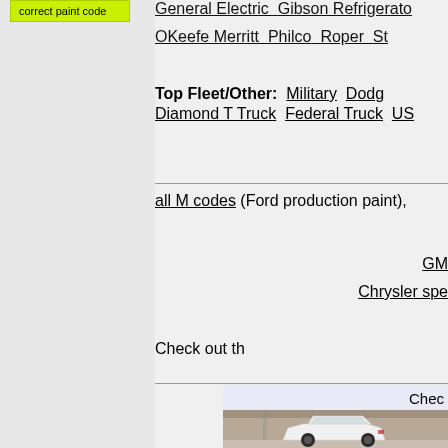correct paint code
General Electric   Gibson Refrigerato...   OKeefe Merritt   Philco   Roper   St...
Top Fleet/Other:   Military   Dodg...   Diamond T Truck   Federal Truck   US...
all M codes (Ford production paint),
GM ...
Chrysler spe...
Check out th...
Chec...
[Figure (photo): White car (appears to be a Mustang or similar) photographed from the rear in a parking garage]